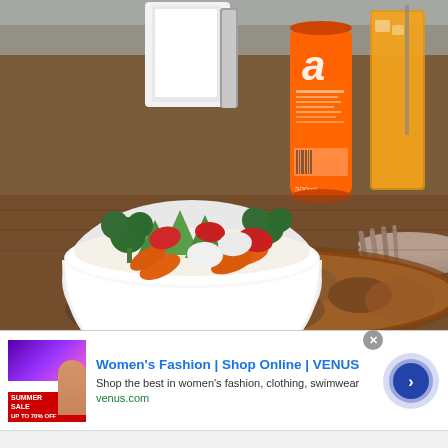[Figure (photo): Restaurant table scene with a white bowl of steamed rice topped with colorful vegetables (carrots, snap peas, broccoli, tomatoes), an orange Fanta soda can, an iced orange drink in a glass, stacked white plates with cutlery, and a dish with brown curry sauce, all on a wooden tray.]
[Figure (screenshot): Advertisement banner for Women's Fashion | Shop Online | VENUS. Shows a thumbnail of a summer sale promotion with a woman, ad title in blue, description text, venus.com URL in green, a circular arrow button, close button, and ad info icon.]